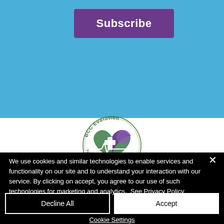[Figure (other): Subscribe button on blue background]
[Figure (logo): BCC Evolution - Make Mental Health Matter circular logo with heart and medical cross]
We use cookies and similar technologies to enable services and functionality on our site and to understand your interaction with our service. By clicking on accept, you agree to our use of such technologies for marketing and analytics.  See Privacy Policy
Decline All
Accept
Cookie Settings